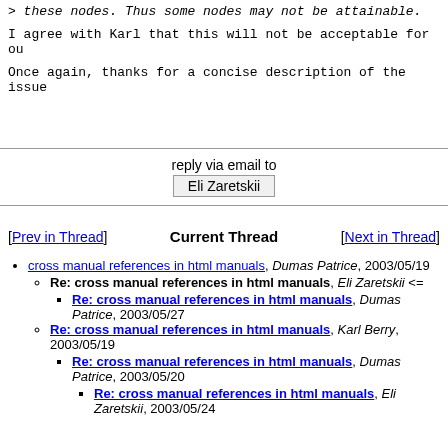> these nodes. Thus some nodes may not be attainable.
I agree with Karl that this will not be acceptable for ou
Once again, thanks for a concise description of the issue
reply via email to
Eli Zaretskii
[Prev in Thread]  Current Thread  [Next in Thread]
cross manual references in html manuals, Dumas Patrice, 2003/05/19
Re: cross manual references in html manuals, Eli Zaretskii <=
Re: cross manual references in html manuals, Dumas Patrice, 2003/05/27
Re: cross manual references in html manuals, Karl Berry, 2003/05/19
Re: cross manual references in html manuals, Dumas Patrice, 2003/05/20
Re: cross manual references in html manuals, Eli Zaretskii, 2003/05/24